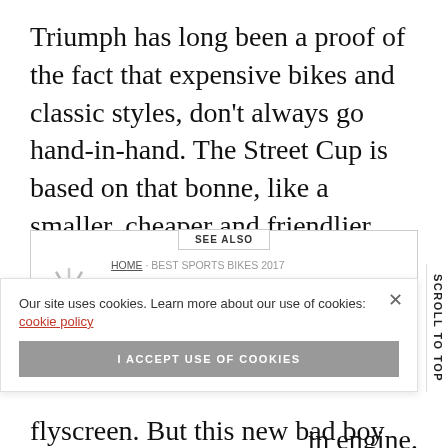Triumph has long been a proof of the fact that expensive bikes and classic styles, don't always go hand-in-hand. The Street Cup is based on that bonne, like a smaller, cheaper and friendlier Thruxton.
SEE ALSO
HOME · BEST SPORTS BIKES 2017
TECH NEWS
How to Digitalize Your Small Business
Our site uses cookies. Learn more about our use of cookies: cookie policy
I ACCEPT USE OF COOKIES
flyscreen. But this new bad boy from Triumph is